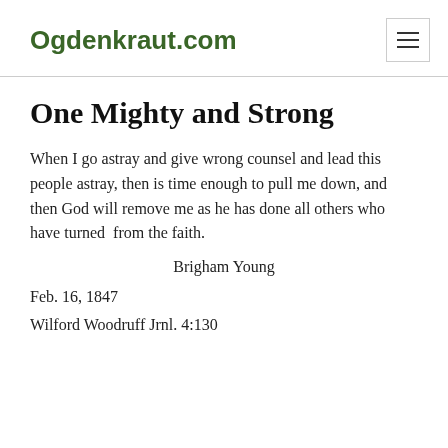Ogdenkraut.com
One Mighty and Strong
When I go astray and give wrong counsel and lead this people astray, then is time enough to pull me down, and then God will remove me as he has done all others who have turned  from the faith.
Brigham Young
Feb. 16, 1847
Wilford Woodruff Jrnl. 4:130